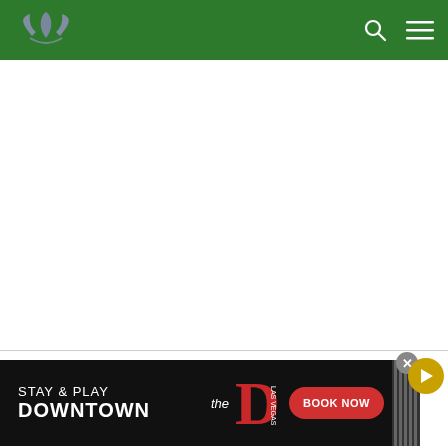[Figure (screenshot): Green website navigation header bar with a purple/silver lotus flower logo on the left, a search icon (magnifying glass) and hamburger menu icon on the right, all on a dark green background.]
[Figure (screenshot): White empty content area below the green header bar.]
[Figure (screenshot): Advertisement banner at the bottom: black background with white text 'STAY & PLAY DOWNTOWN', a red letter D logo for 'the D Las Vegas', a red 'BOOK NOW' button, vertical striped pattern on the right. A grey close (X) button and a gold play button overlay the top-right corner of the ad.]